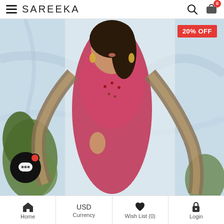SAREEKA
[Figure (photo): Woman wearing a pink embroidered anarkali suit with a printed dupatta, posed against a marble-effect background with tropical leaves. A 20% OFF badge is shown in the top-right corner. A chat bubble icon is visible in the bottom-left.]
Home | USD Currency | Wish List (0) | Login